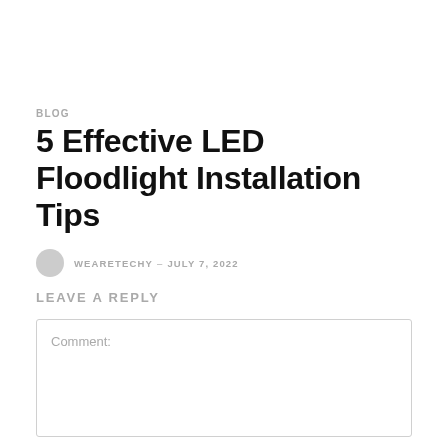BLOG
5 Effective LED Floodlight Installation Tips
WEARETECHY – JULY 7, 2022
LEAVE A REPLY
Comment: